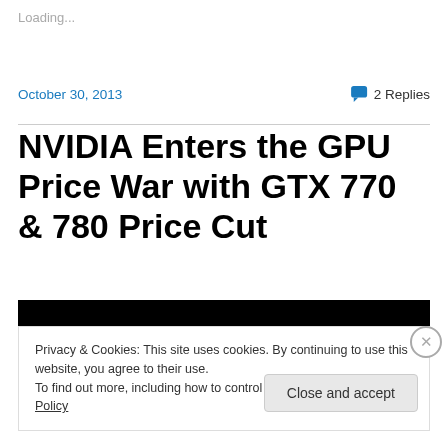Loading...
October 30, 2013
2 Replies
NVIDIA Enters the GPU Price War with GTX 770 & 780 Price Cut
[Figure (other): Black image strip at top of article]
Privacy & Cookies: This site uses cookies. By continuing to use this website, you agree to their use.
To find out more, including how to control cookies, see here: Cookie Policy
Close and accept